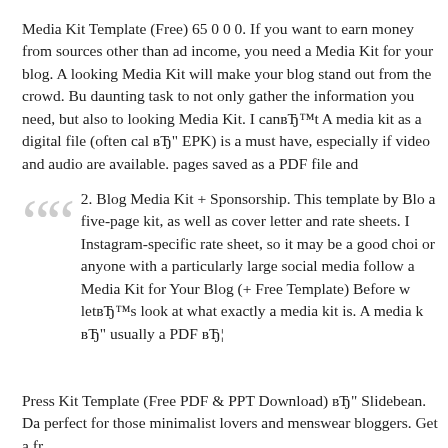Media Kit Template (Free) 65 0 0 0. If you want to earn money from sources other than ad income, you need a Media Kit for your blog. A looking Media Kit will make your blog stand out from the crowd. Bu daunting task to not only gather the information you need, but also to looking Media Kit. I canвЂ™t A media kit as a digital file (often cal вЂ" EPK) is a must have, especially if video and audio are available. pages saved as a PDF file and
2. Blog Media Kit + Sponsorship. This template by Blo a five-page kit, as well as cover letter and rate sheets. I Instagram-specific rate sheet, so it may be a good choi or anyone with a particularly large social media follow a Media Kit for Your Blog (+ Free Template) Before w letвЂ™s look at what exactly a media kit is. A media k вЂ" usually a PDF вЂ¦
Press Kit Template (Free PDF & PPT Download) вЂ" Slidebean. Da perfect for those minimalist lovers and menswear bloggers. Get a fr